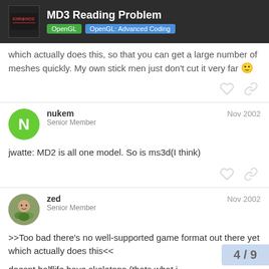MD3 Reading Problem | OpenGL | OpenGL: Advanced Coding
which actually does this, so that you can get a large number of meshes quickly. My own stick men just don't cut it very far 🙂
nukem
Senior Member
Nov 2002
jwatte: MD2 is all one model. So is ms3d(I think)
zed
Senior Member
Nov 2002
>>Too bad there's no well-supported game format out there yet which actually does this<<

doesnt halflife have skeletons (thats what i
4 / 9